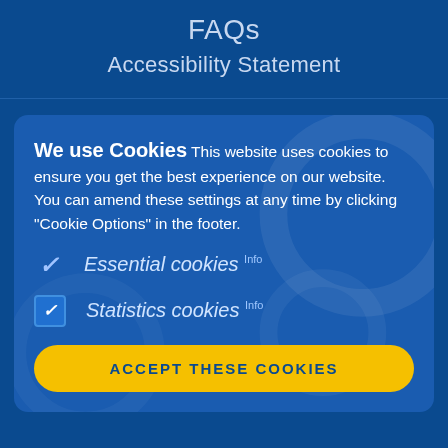FAQs
Accessibility Statement
We use Cookies This website uses cookies to ensure you get the best experience on our website. You can amend these settings at any time by clicking "Cookie Options" in the footer.
Essential cookies Info
Statistics cookies Info
ACCEPT THESE COOKIES